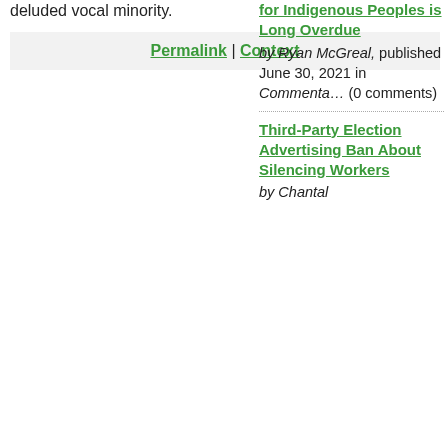deluded vocal minority.
Permalink | Context
for Indigenous Peoples is Long Overdue
by Ryan McGreal, published June 30, 2021 in Commentary (0 comments)
Third-Party Election Advertising Ban About Silencing Workers
by Chantal